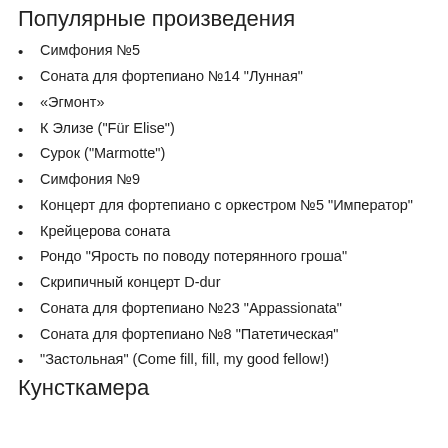Популярные произведения
Симфония №5
Соната для фортепиано №14 "Лунная"
«Эгмонт»
К Элизе ("Für Elise")
Сурок ("Marmotte")
Симфония №9
Концерт для фортепиано с оркестром №5 "Император"
Крейцерова соната
Рондо "Ярость по поводу потерянного гроша"
Скрипичный концерт D-dur
Соната для фортепиано №23 "Appassionata"
Соната для фортепиано №8 "Патетическая"
"Застольная" (Come fill, fill, my good fellow!)
Кунсткамера